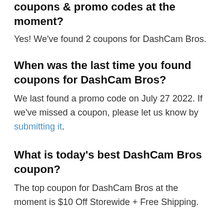coupons & promo codes at the moment?
Yes! We've found 2 coupons for DashCam Bros.
When was the last time you found coupons for DashCam Bros?
We last found a promo code on July 27 2022. If we've missed a coupon, please let us know by submitting it.
What is today's best DashCam Bros coupon?
The top coupon for DashCam Bros at the moment is $10 Off Storewide + Free Shipping.
How do I add DashCam Bros coupons to my order?